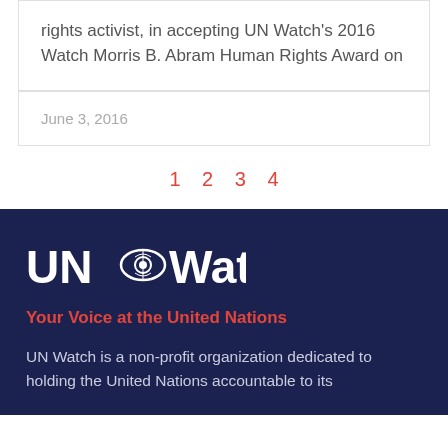rights activist, in accepting UN Watch's 2016 Watch Morris B. Abram Human Rights Award on
June 3, 2016
1  2  3  4
[Figure (logo): UN Watch logo with eye graphic on dark navy background]
Your Voice at the United Nations
UN Watch is a non-profit organization dedicated to holding the United Nations accountable to its